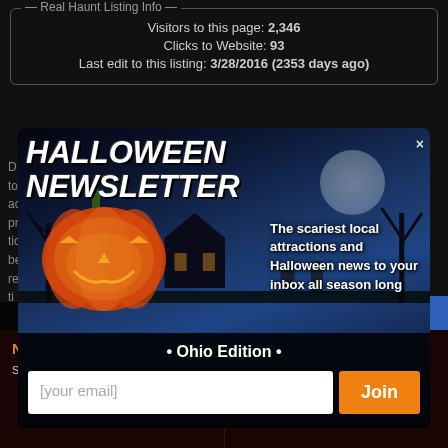Real Haunt Listing Info
Visitors to this page: 2,346
Clicks to Website: 93
Last edit to this listing: 3/28/2016 (2353 days ago)
[Figure (screenshot): Halloween Newsletter popup modal with pumpkin image, spooky background, newsletter signup form for Ohio Edition]
HALLOWEEN NEWSLETTER
The scariest local attractions and Halloween news to your inbox all season long
• Ohio Edition •
[your email]
Join
Want to Go on a Ghost Tour of Ohio's Real Haunts? Click Here!
Newsletter
Sign up for our newsletter and receive
About OhioHauntedHouses.com
Founded in 2011, OhioHauntedHouses.com is a simple and unique online haunted event &